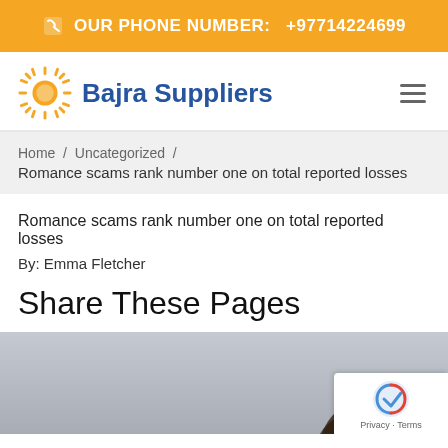OUR PHONE NUMBER: +97714224699
[Figure (logo): Bajra Suppliers logo with sun icon]
Home / Uncategorized /
Romance scams rank number one on total reported losses
Romance scams rank number one on total reported losses
By: Emma Fletcher
Share These Pages
[Figure (photo): Partially visible image of a person, gray background, with reCAPTCHA badge overlay]